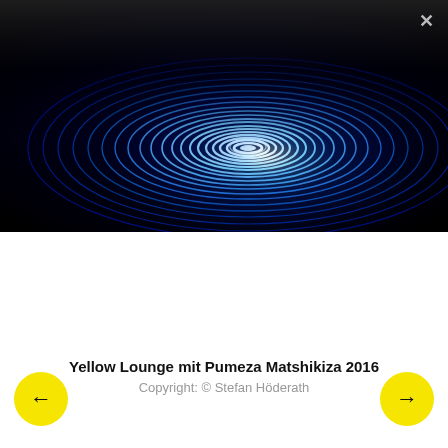[Figure (photo): Glowing blue concentric ripple circles on a dark/black background, viewed at perspective angle, creating a spiral wave pattern. Neon blue light rings emanate from a bright center.]
Yellow Lounge mit Pumeza Matshikiza 2016
Copyright: © Stefan Höderath